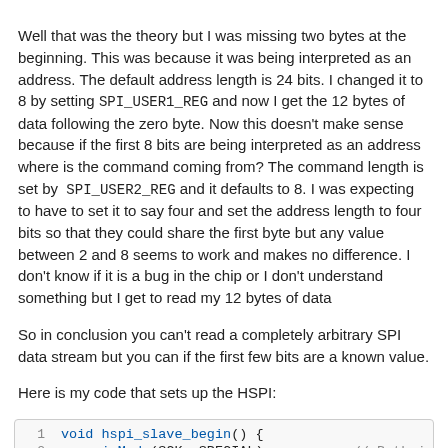Well that was the theory but I was missing two bytes at the beginning. This was because it was being interpreted as an address. The default address length is 24 bits. I changed it to 8 by setting SPI_USER1_REG and now I get the 12 bytes of data following the zero byte. Now this doesn't make sense because if the first 8 bits are being interpreted as an address where is the command coming from? The command length is set by SPI_USER2_REG and it defaults to 8. I was expecting to have to set it to say four and set the address length to four bits so that they could share the first byte but any value between 2 and 8 seems to work and makes no difference. I don't know if it is a bug in the chip or I don't understand something but I get to read my 12 bytes of data
So in conclusion you can't read a completely arbitrary SPI data stream but you can if the first few bits are a known value.
Here is my code that sets up the HSPI:
[Figure (screenshot): Code snippet showing the beginning of a C function 'hspi_slave_begin()' with line numbers 1 and 2. Line 1: void hspi_slave_begin() {. Line 2: pinMode(SCK, SPECIAL); // Both i]